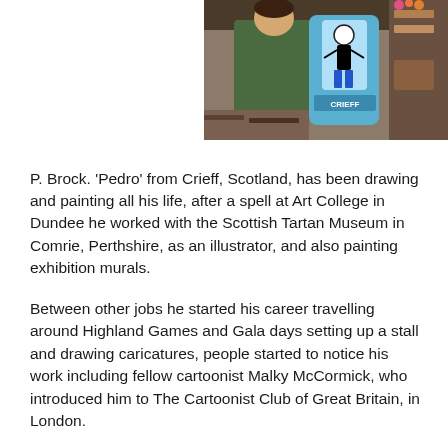[Figure (photo): Person holding a cartoon character display board with 'CRIEFF' text, standing in what appears to be a shop or exhibition space]
P. Brock. 'Pedro' from Crieff, Scotland, has been drawing and painting all his life, after a spell at Art College in Dundee he worked with the Scottish Tartan Museum in Comrie, Perthshire, as an illustrator, and also painting exhibition murals.
Between other jobs he started his career travelling around Highland Games and Gala days setting up a stall and drawing caricatures, people started to notice his work including fellow cartoonist Malky McCormick, who introduced him to The Cartoonist Club of Great Britain, in London.
He also started doing weekly cartoons for his local newspaper. His cartoons and caricatures became very popular, and he was being commissioned for book and magazine cartoons, and was being booked for work at Weddings and Corporate